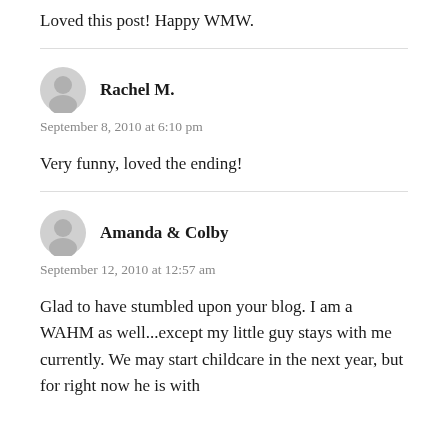Loved this post! Happy WMW.
Rachel M.
September 8, 2010 at 6:10 pm
Very funny, loved the ending!
Amanda & Colby
September 12, 2010 at 12:57 am
Glad to have stumbled upon your blog. I am a WAHM as well...except my little guy stays with me currently. We may start childcare in the next year, but for right now he is with